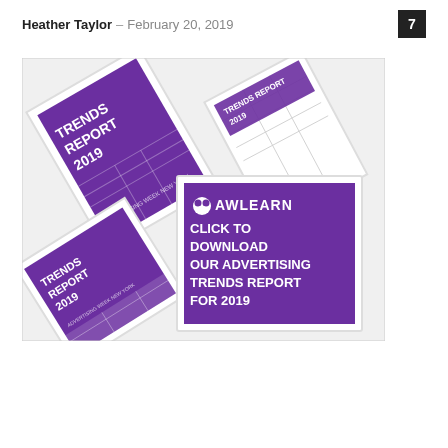Heather Taylor – February 20, 2019
[Figure (photo): Promotional image showing multiple framed copies of the 'Trends Report 2019 – Advertising Week New York' booklet arranged at angles, with a central purple card reading 'AWLEARN – CLICK TO DOWNLOAD OUR ADVERTISING TRENDS REPORT FOR 2019'.]